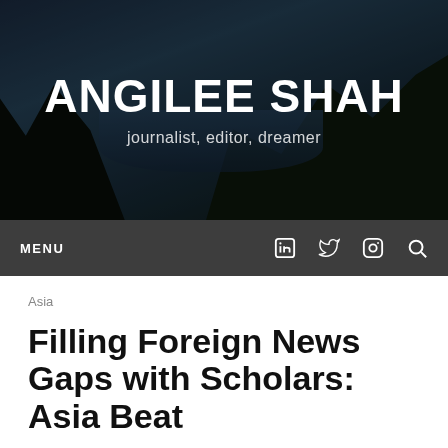[Figure (photo): Header banner with coastal landscape background — hills, water, and city visible in a dark moody photograph with overlay]
ANGILEE SHAH
journalist, editor, dreamer
MENU
Asia
Filling Foreign News Gaps with Scholars: Asia Beat
Written by Angilee Shah on May 31st, 2012